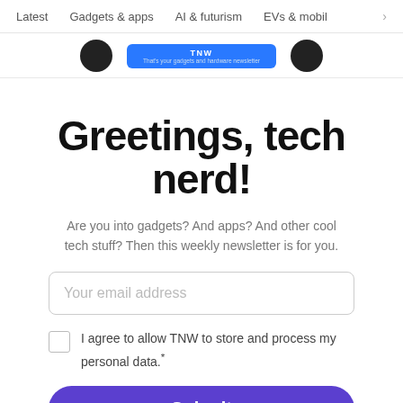Latest   Gadgets & apps   AI & futurism   EVs & mobil   >
[Figure (screenshot): Banner area with two dark circular icons and a blue rectangle with 'TNW' and tagline text]
Greetings, tech nerd!
Are you into gadgets? And apps? And other cool tech stuff? Then this weekly newsletter is for you.
Your email address
I agree to allow TNW to store and process my personal data.*
Submit